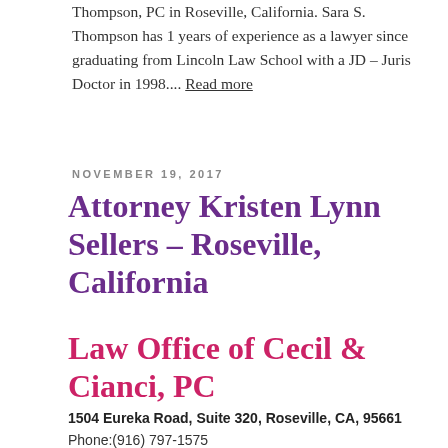Thompson, PC in Roseville, California. Sara S. Thompson has 1 years of experience as a lawyer since graduating from Lincoln Law School with a JD – Juris Doctor in 1998.... Read more
NOVEMBER 19, 2017
Attorney Kristen Lynn Sellers – Roseville, California
Law Office of Cecil & Cianci, PC
1504 Eureka Road, Suite 320, Roseville, CA, 95661
Phone:(916) 797-1575